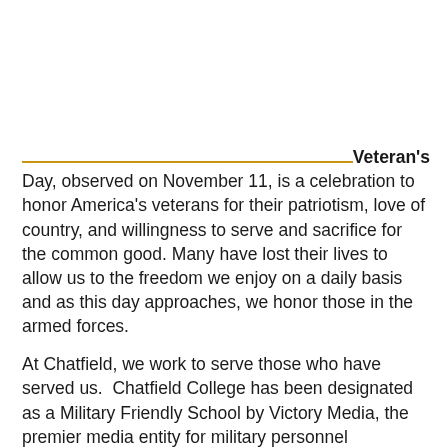Veteran's Day, observed on November 11, is a celebration to honor America's veterans for their patriotism, love of country, and willingness to serve and sacrifice for the common good. Many have lost their lives to allow us to the freedom we enjoy on a daily basis and as this day approaches, we honor those in the armed forces.
At Chatfield, we work to serve those who have served us. Chatfield College has been designated as a Military Friendly School by Victory Media, the premier media entity for military personnel transitioning into civilian life. If you are a veteran or a dependent of a veteran, you may qualify for educational benefits. Financial assistance for college